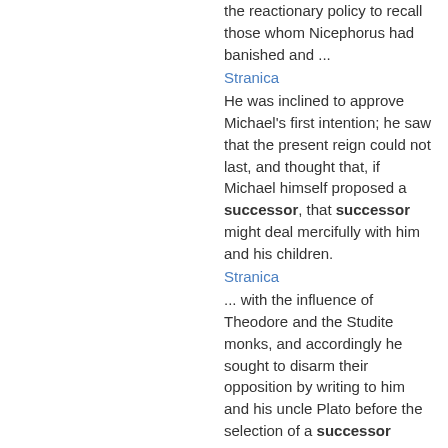the reactionary policy to recall those whom Nicephorus had banished and ...
Stranica
He was inclined to approve Michael's first intention; he saw that the present reign could not last, and thought that, if Michael himself proposed a successor, that successor might deal mercifully with him and his children.
Stranica
... with the influence of Theodore and the Studite monks, and accordingly he sought to disarm their opposition by writing to him and his uncle Plato before the selection of a successor